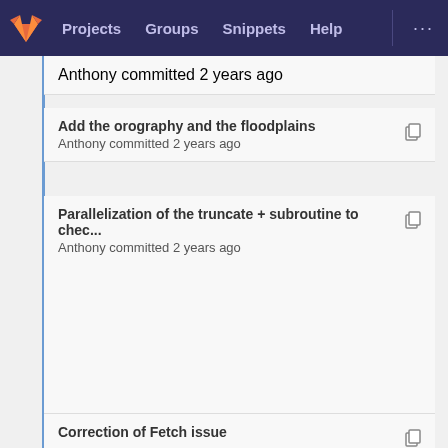Projects  Groups  Snippets  Help  ...
Anthony committed 2 years ago
Add the orography and the floodplains
Anthony committed 2 years ago
Parallelization of the truncate + subroutine to chec...
Anthony committed 2 years ago
Correction of Fetch issue